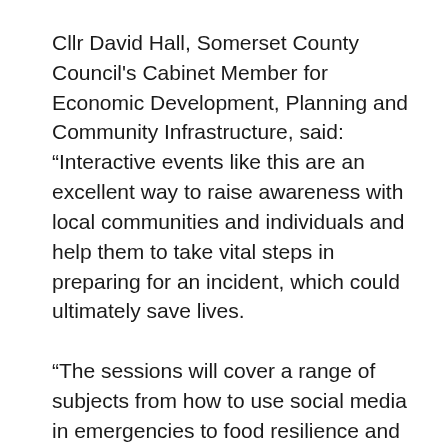Cllr David Hall, Somerset County Council's Cabinet Member for Economic Development, Planning and Community Infrastructure, said: “Interactive events like this are an excellent way to raise awareness with local communities and individuals and help them to take vital steps in preparing for an incident, which could ultimately save lives.

“The sessions will cover a range of subjects from how to use social media in emergencies to food resilience and crime prevention.

“It’s a great opportunity for groups to hear from each other, share their experiences and ask the